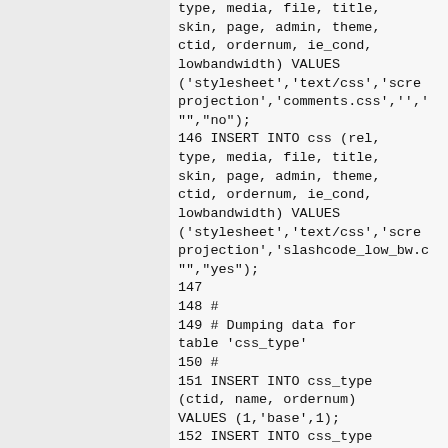type, media, file, title,
skin, page, admin, theme,
ctid, ordernum, ie_cond,
lowbandwidth) VALUES
('stylesheet','text/css','scre
projection','comments.css','','
"","no");
146 INSERT INTO css (rel,
type, media, file, title,
skin, page, admin, theme,
ctid, ordernum, ie_cond,
lowbandwidth) VALUES
('stylesheet','text/css','scre
projection','slashcode_low_bw.c
"","yes");
147
148 #
149 # Dumping data for
table 'css_type'
150 #
151 INSERT INTO css_type
(ctid, name, ordernum)
VALUES (1,'base',1);
152 INSERT INTO css_type
(ctid, name, ordernum)